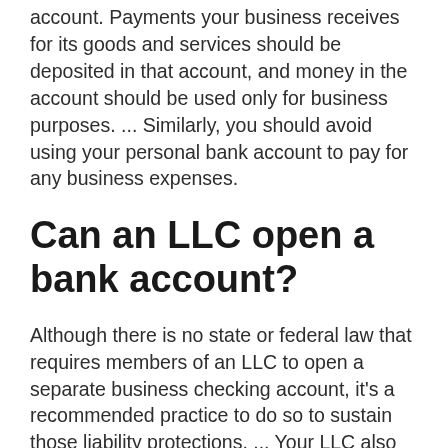account. Payments your business receives for its goods and services should be deposited in that account, and money in the account should be used only for business purposes. ... Similarly, you should avoid using your personal bank account to pay for any business expenses.
Can an LLC open a bank account?
Although there is no state or federal law that requires members of an LLC to open a separate business checking account, it's a recommended practice to do so to sustain those liability protections. ... Your LLC also may need a dedicated bank account before you can apply for a business credit card or